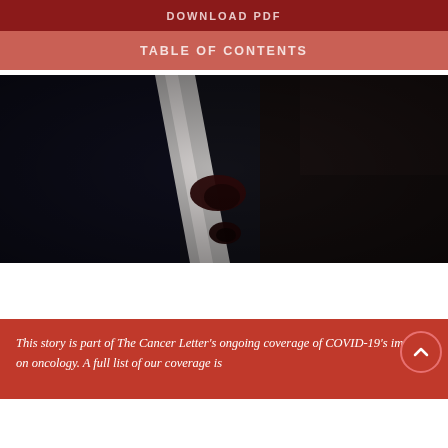DOWNLOAD PDF
TABLE OF CONTENTS
[Figure (photo): Dark close-up medical/microscopy image showing a white diagonal band or stripe against very dark background, with dark reddish spots or lesions visible along the band — likely a pathology or oncology-related image.]
This story is part of The Cancer Letter's ongoing coverage of COVID-19's impact on oncology. A full list of our coverage is